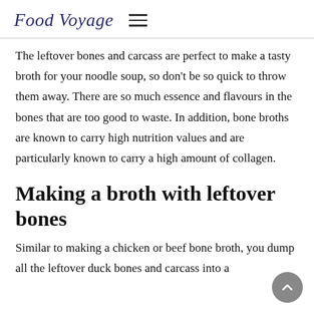Food Voyage
The leftover bones and carcass are perfect to make a tasty broth for your noodle soup, so don't be so quick to throw them away. There are so much essence and flavours in the bones that are too good to waste. In addition, bone broths are known to carry high nutrition values and are particularly known to carry a high amount of collagen.
Making a broth with leftover bones
Similar to making a chicken or beef bone broth, you dump all the leftover duck bones and carcass into a